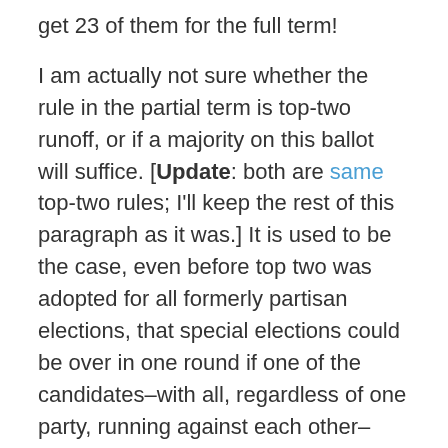get 23 of them for the full term!
I am actually not sure whether the rule in the partial term is top-two runoff, or if a majority on this ballot will suffice. [Update: both are same top-two rules; I'll keep the rest of this paragraph as it was.] It is used to be the case, even before top two was adopted for all formerly partisan elections, that special elections could be over in one round if one of the candidates–with all, regardless of one party, running against each other–won over half. I do not know if that applies here, or if the top two automatically go to a runoff, as in the full term election. If a majority suffices, you technically could have someone sworn in right away to serve only till early January. If the runoff is required anyway, then the person elected for the partial term would serve for only a few weeks. Of course, it is moot. The appointed incumbent is sure to win both contests anyway